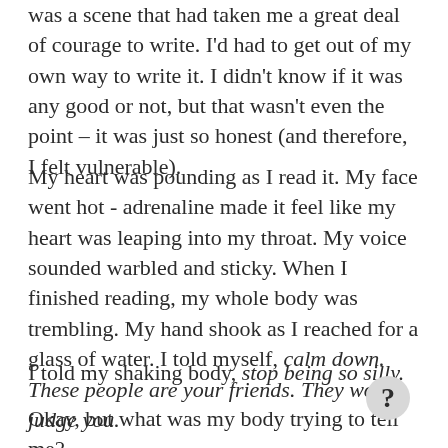was a scene that had taken me a great deal of courage to write. I'd had to get out of my own way to write it. I didn't know if it was any good or not, but that wasn't even the point – it was just so honest (and therefore, I felt vulnerable).
My heart was pounding as I read it. My face went hot - adrenaline made it feel like my heart was leaping into my throat. My voice sounded warbled and sticky. When I finished reading, my whole body was trembling. My hand shook as I reached for a glass of water. I told myself, calm down. These people are your friends. They won't judge you.
I told my shaking body, stop being so silly.
Okay, but what was my body trying to tell me?